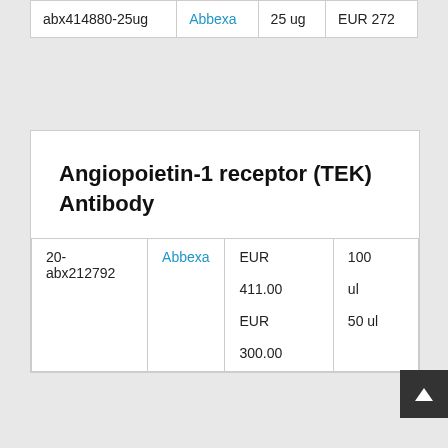|  |  |  |  |
| --- | --- | --- | --- |
| abx414880-25ug | Abbexa | 25 ug | EUR 272 |
Angiopoietin-1 receptor (TEK) Antibody
|  |  |  |  |
| --- | --- | --- | --- |
| 20-abx212792 | Abbexa | EUR 411.00
EUR 300.00 | 100 ul
50 ul |